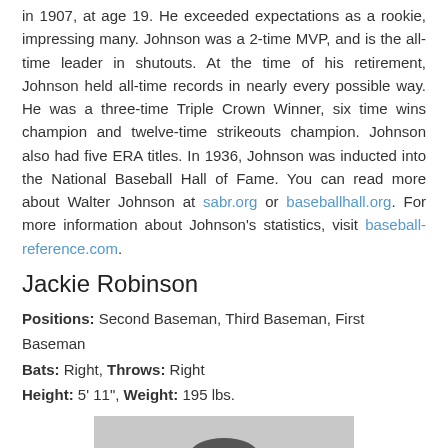in 1907, at age 19. He exceeded expectations as a rookie, impressing many. Johnson was a 2-time MVP, and is the all-time leader in shutouts. At the time of his retirement, Johnson held all-time records in nearly every possible way. He was a three-time Triple Crown Winner, six time wins champion and twelve-time strikeouts champion. Johnson also had five ERA titles. In 1936, Johnson was inducted into the National Baseball Hall of Fame. You can read more about Walter Johnson at sabr.org or baseballhall.org. For more information about Johnson's statistics, visit baseball-reference.com.
Jackie Robinson
Positions: Second Baseman, Third Baseman, First Baseman
Bats: Right, Throws: Right
Height: 5' 11", Weight: 195 lbs.
[Figure (photo): Black and white photograph of Jackie Robinson in a baseball swing pose, wearing a Brooklyn Dodgers cap with the letter B.]